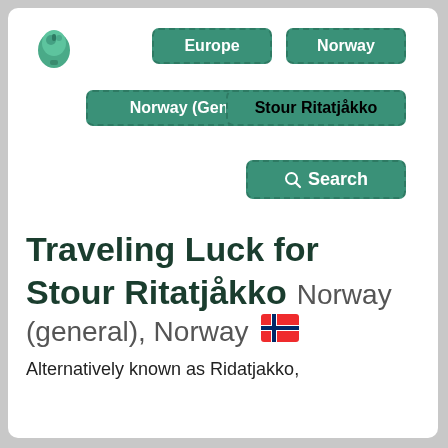[Figure (logo): Green backpack logo icon]
Europe
Norway
Norway (General)
Stour Ritatjåkko
Search
Traveling Luck for Stour Ritatjåkko Norway (general), Norway
Alternatively known as Ridatjakko,